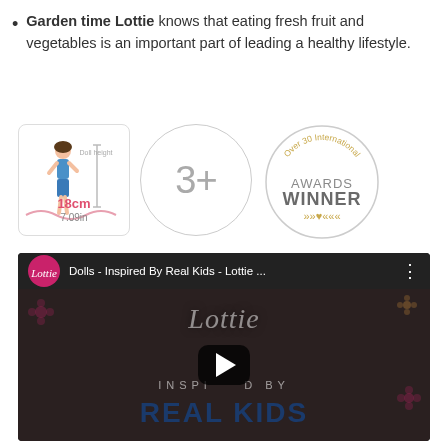Garden time Lottie knows that eating fresh fruit and vegetables is an important part of leading a healthy lifestyle.
[Figure (illustration): Three product badges: (1) A square badge showing a Lottie doll illustration with 'Doll height 18cm / 7.09in'. (2) A circular badge with '3+' age recommendation. (3) A circular badge reading 'Over 30 International AWARDS WINNER' with decorative arrows and hearts.]
[Figure (screenshot): YouTube video thumbnail showing 'Dolls - Inspired By Real Kids - Lottie ...' with the Lottie logo circle on the left. The video frame shows the Lottie brand logo in cursive, 'INSPIRED BY' text, and 'REAL KIDS' in large bold navy letters, with a play button in the center and floral decorations on a dark background.]